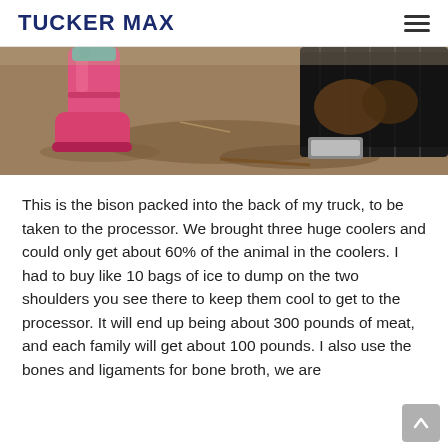TUCKER MAX
[Figure (photo): Photo showing pink rubber boots/wellies on the left and what appears to be the back of a truck with dark contents, on dirt/gravel ground outdoors.]
This is the bison packed into the back of my truck, to be taken to the processor. We brought three huge coolers and could only get about 60% of the animal in the coolers. I had to buy like 10 bags of ice to dump on the two shoulders you see there to keep them cool to get to the processor. It will end up being about 300 pounds of meat, and each family will get about 100 pounds. I also use the bones and ligaments for bone broth, we are